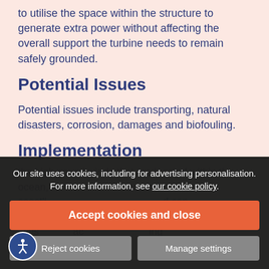to utilise the space within the structure to generate extra power without affecting the overall support the turbine needs to remain safely grounded.
Potential Issues
Potential issues include transporting, natural disasters, corrosion, damages and biofouling.
Implementation
the high speed winds that are located within the ocean, south coast is and can con numbers lines. sys ac ing
Our site uses cookies, including for advertising personalisation. For more information, see our cookie policy.
Accept cookies and close
Reject cookies
Manage settings